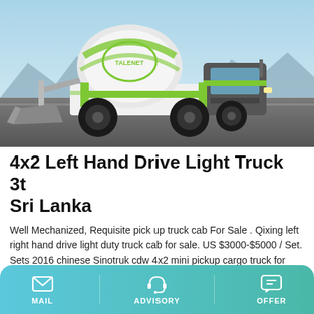[Figure (photo): A green and white Talenet cement mixer truck (self-loading concrete mixer) with a large drum on back and front-loading bucket, photographed on a paved road with mountains in background.]
4x2 Left Hand Drive Light Truck 3t Sri Lanka
Well Mechanized, Requisite pick up truck cab For Sale . Qixing left right hand drive light duty truck cab for sale. US $3000-$5000 / Set. Sets 2016 chinese Sinotruk cdw 4x2 mini pickup cargo truck for sale. US $5000-$5500 / Unit. 3 Units Paraguay, Bolivia, Ecuador, Haiti, South Sudan, Niger, Nigeria, Sierra Leone, Sri Lanka and more than 30
MAIL   ADVISORY   OFFER